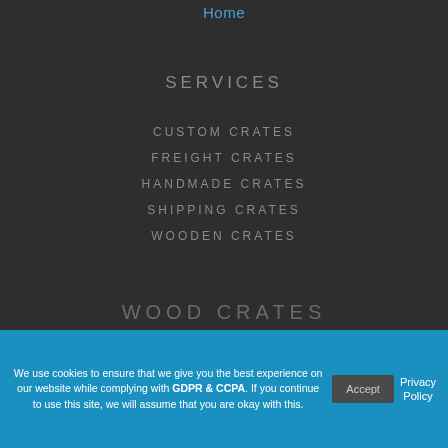Home
SERVICES
CUSTOM CRATES
FREIGHT CRATES
HANDMADE CRATES
SHIPPING CRATES
WOODEN CRATES
WOOD CRATES
We use cookies to ensure that we give you the best experience on our website while complying with GDPR & CCPA. If you continue to use this site, we will assume that you are okay with this.